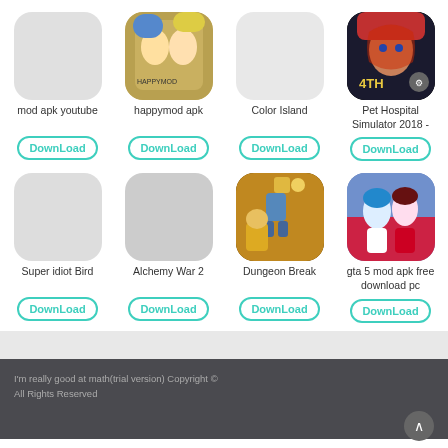[Figure (screenshot): App grid showing 8 app icons in 2 rows of 4, each with a download button. Row 1: mod apk youtube, happymod apk, Color Island, Pet Hospital Simulator 2018 -. Row 2: Super idiot Bird, Alchemy War 2, Dungeon Break, gta 5 mod apk free download pc.]
I'm really good at math(trial version) Copyright © All Rights Reserved